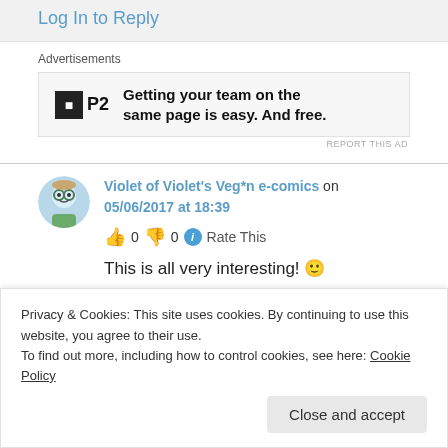Log In to Reply
Advertisements
[Figure (logo): P2 advertisement banner: logo with square icon and text 'Getting your team on the same page is easy. And free.']
REPORT THIS AD
Violet of Violet's Veg*n e-comics on 05/06/2017 at 18:39
👍 0 👎 0 ℹ Rate This
This is all very interesting! 🙂
Privacy & Cookies: This site uses cookies. By continuing to use this website, you agree to their use.
To find out more, including how to control cookies, see here: Cookie Policy
Close and accept
DiulsArt Design on 06/06/2017 at 04:00